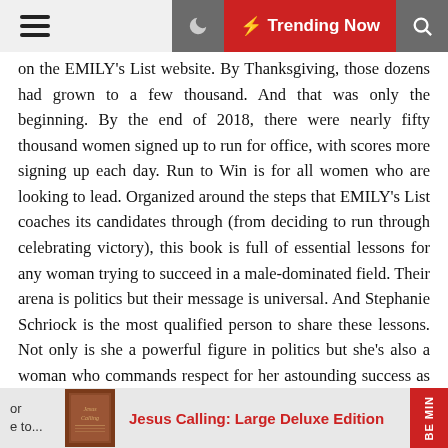Trending Now
on the EMILY's List website. By Thanksgiving, those dozens had grown to a few thousand. And that was only the beginning. By the end of 2018, there were nearly fifty thousand women signed up to run for office, with scores more signing up each day. Run to Win is for all women who are looking to lead. Organized around the steps that EMILY's List coaches its candidates through (from deciding to run through celebrating victory), this book is full of essential lessons for any woman trying to succeed in a male-dominated field. Their arena is politics but their message is universal. And Stephanie Schriock is the most qualified person to share these lessons. Not only is she a powerful figure in politics but she's also a woman who commands respect for her astounding success as president of EMILY's List and a longtime Democratic operative. Her message is uplifting and actionable, her voice is that of your best girlfriend walking you through what you need to consider as you make your plan, and her experience coaching the biggest female candidates in recent elections (including all of the female 2020 Democratic presidential candidates) makes her the de facto
[Figure (other): Bottom advertisement bar showing book 'Jesus Calling: Large Deluxe Edition' with book cover image]